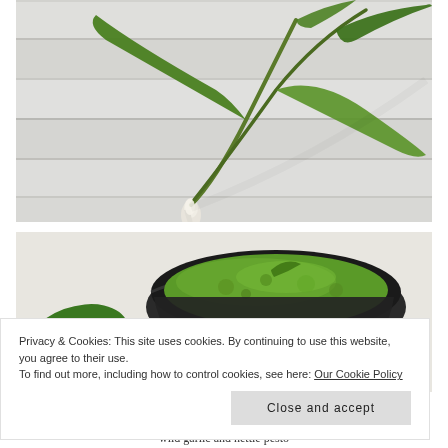[Figure (photo): Wild garlic leaves (ramsons) with white bulb ends laid on a rustic whitewashed wooden surface, photographed from above.]
[Figure (photo): Dark ceramic bowl filled with bright green wild garlic and nettle pesto, with a green leaf beside the bowl, on a light background.]
Privacy & Cookies: This site uses cookies. By continuing to use this website, you agree to their use.
To find out more, including how to control cookies, see here: Our Cookie Policy
Close and accept
wild garlic and nettle pesto